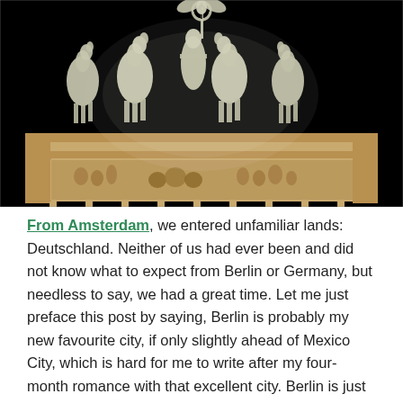[Figure (photo): Night photograph of the Brandenburg Gate quadriga — the sculptural group of a chariot driver with four horses atop the gate's attic, illuminated against a black night sky, with the sandstone cornice and relief frieze visible below.]
From Amsterdam, we entered unfamiliar lands: Deutschland. Neither of us had ever been and did not know what to expect from Berlin or Germany, but needless to say, we had a great time. Let me just preface this post by saying, Berlin is probably my new favourite city, if only slightly ahead of Mexico City, which is hard for me to write after my four-month romance with that excellent city. Berlin is just so much awesome crammed into one super dynamic, lively, fun city.